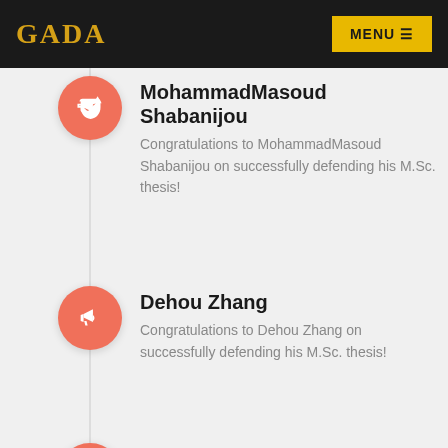GADA | MENU
MohammadMasoud Shabanijou
Congratulations to MohammadMasoud Shabanijou on successfully defending his M.Sc. thesis!
Dehou Zhang
Congratulations to Dehou Zhang on successfully defending his M.Sc. thesis!
Welcome to the Lab